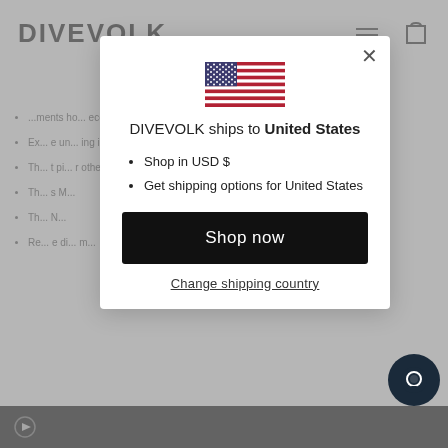DIVEVOLK
[Figure (screenshot): Modal popup showing DIVEVOLK ships to United States with US flag icon, shop in USD $, get shipping options for United States, Shop now button, and Change shipping country link]
Shop in USD $
Get shipping options for United States
DIVEVOLK ships to United States
Shop now
Change shipping country